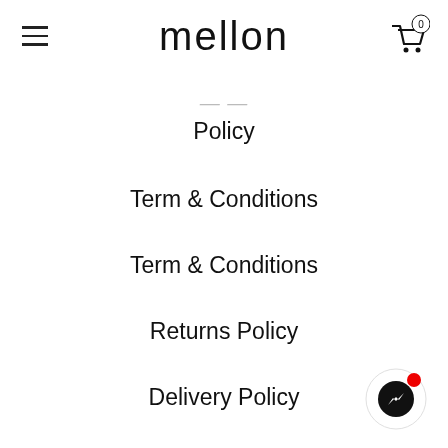mellon
Policy
Term & Conditions
Term & Conditions
Returns Policy
Delivery Policy
Payment Methods
[Figure (illustration): Messenger chat button with red notification dot in bottom right corner]